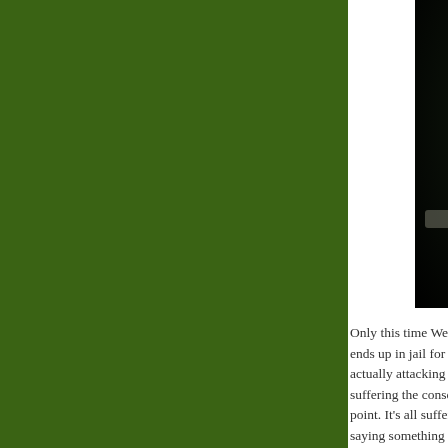[Figure (photo): Dark photograph, mostly black with some dark green and a faint horizontal highlight stripe near the bottom, cropped at the right edge of the page]
Only this time Wein ends up in jail for p actually attacking t suffering the conse point. It's all sufferi saying something a this might qualify — somebody else aw